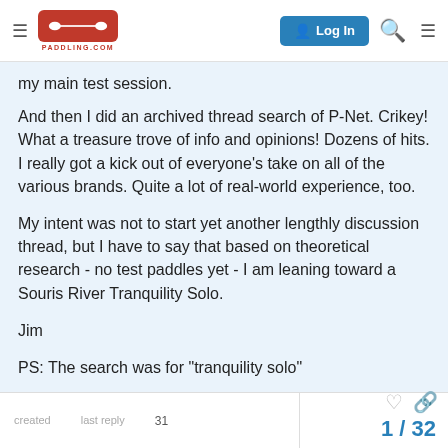PADDLING.COM | Log In
my main test session.
And then I did an archived thread search of P-Net. Crikey! What a treasure trove of info and opinions! Dozens of hits. I really got a kick out of everyone's take on all of the various brands. Quite a lot of real-world experience, too.
My intent was not to start yet another lengthly discussion thread, but I have to say that based on theoretical research - no test paddles yet - I am leaning toward a Souris River Tranquility Solo.
Jim
PS: The search was for "tranquility solo"
created   last reply   31   1 / 32